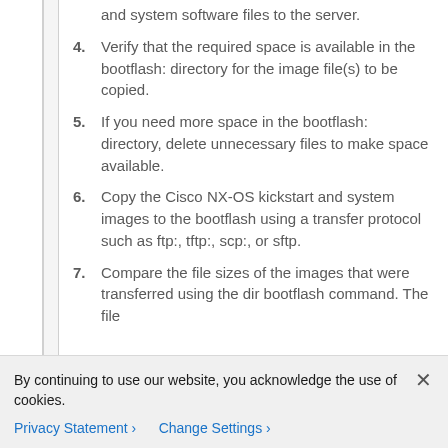and system software files to the server.
4. Verify that the required space is available in the bootflash: directory for the image file(s) to be copied.
5. If you need more space in the bootflash: directory, delete unnecessary files to make space available.
6. Copy the Cisco NX-OS kickstart and system images to the bootflash using a transfer protocol such as ftp:, tftp:, scp:, or sftp.
7. Compare the file sizes of the images that were transferred using the dir bootflash command. The file
By continuing to use our website, you acknowledge the use of cookies.
Privacy Statement >   Change Settings >